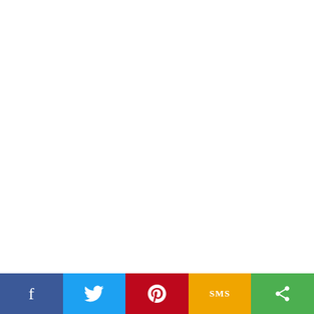gene clusters also exist in STEC, which encode virulence factors and play an important role in … of T6SS hcp1 and its relationship with …
To further analyze the effect of T… strain was selected, and hcp1 deletion … Function of hcp1 was further discussed … adherence, Stx2e production between …
MA…
Materials and the construction of F1…
The strains and plasmids are listed … (Yang et al., 2014). All strains were p… or 34μg/mL chloramphenicol (Cm+)… (IPEC-J2) was grown in RPMI 1640 … (37°C, 5% CO2). Vero cells were cu… serum (37°C, 5% CO2). Plasmids p… system were preserved in our labora… Comparative Medicine of Yangzhou …
The deletion strain F18abΔhcp1 … △ hcp1-1/ △ hcp1-2 primers (Table…) deletion strain was further verified b…